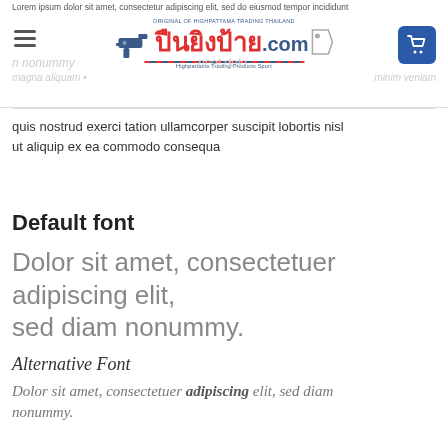ปืนยิงป้าย.com — Highpattama Trading Thailand
quis nostrud exerci tation ullamcorper suscipit lobortis nisl ut aliquip ex ea commodo consequa
Default font
Dolor sit amet, consectetuer adipiscing elit, sed diam nonummy.
Alternative Font
Dolor sit amet, consectetuer adipiscing elit, sed diam nonummy.